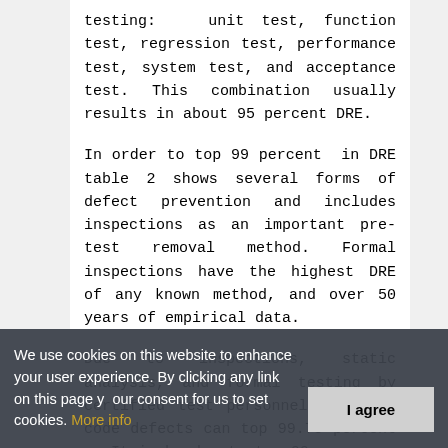testing:  unit test, function test, regression test, performance test, system test, and acceptance test. This combination usually results in about 95 percent DRE.
In order to top 99 percent  in DRE table 2 shows several forms of defect prevention and includes inspections as an important pre-test removal method. Formal inspections have the highest DRE of any known method, and over 50 years of empirical data.
Due to inspections, static analysis, and formal testing by certified test personnel, DRE for code defects can top 99.75 percent .  It is harder to top 99
We use cookies on this website to enhance your user experience. By clicking any link on this page y our consent for us to set cookies. More info